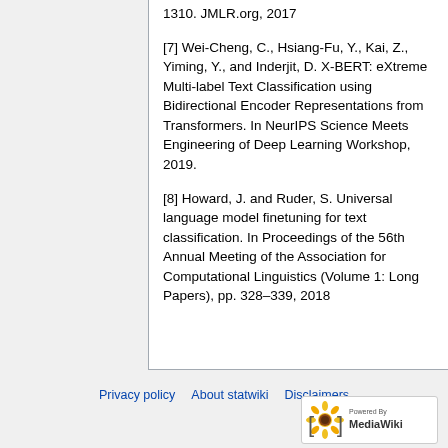1310. JMLR.org, 2017
[7] Wei-Cheng, C., Hsiang-Fu, Y., Kai, Z., Yiming, Y., and Inderjit, D. X-BERT: eXtreme Multi-label Text Classification using Bidirectional Encoder Representations from Transformers. In NeurIPS Science Meets Engineering of Deep Learning Workshop, 2019.
[8] Howard, J. and Ruder, S. Universal language model finetuning for text classification. In Proceedings of the 56th Annual Meeting of the Association for Computational Linguistics (Volume 1: Long Papers), pp. 328–339, 2018
Privacy policy   About statwiki   Disclaimers